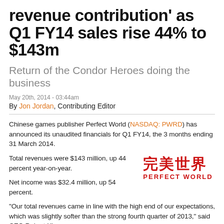revenue contribution' as Q1 FY14 sales rise 44% to $143m
Return of the Condor Heroes doing the business
May 20th, 2014 - 03:44am
By Jon Jordan, Contributing Editor
Chinese games publisher Perfect World (NASDAQ: PWRD) has announced its unaudited financials for Q1 FY14, the 3 months ending 31 March 2014.
Total revenues were $143 million, up 44 percent year-on-year.
[Figure (logo): Perfect World logo with Chinese characters and English text in red]
Net income was $32.4 million, up 54 percent.
"Our total revenues came in line with the high end of our expectations, which was slightly softer than the strong fourth quarter of 2013," said CEO Robert Xiao.
"In the first quarter of 2014, we decelerated promotional activities